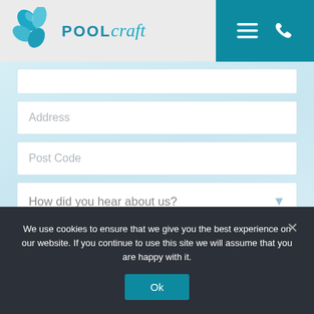POOL craft
Address
Post Code
How did you hear about us?
What services do you need?
We use cookies to ensure that we give you the best experience on our website. If you continue to use this site we will assume that you are happy with it.
Ok